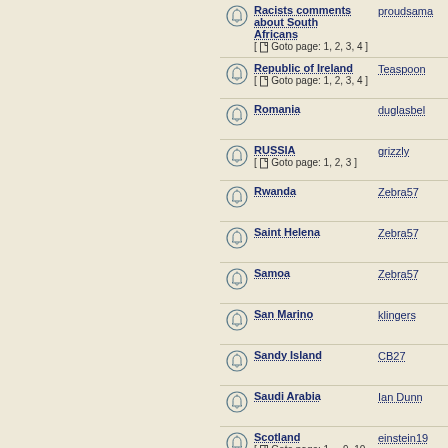Racists comments about South Africans [ Goto page: 1, 2, 3, 4 ] | proudsama
Republic of Ireland [ Goto page: 1, 2, 3, 4 ] | Teaspoon
Romania | duglasbel
RUSSIA [ Goto page: 1, 2, 3 ] | grizzly
Rwanda | Zebra57
Saint Helena | Zebra57
Samoa | Zebra57
San Marino | klingers
Sandy Island | CB27
Saudi Arabia | Ian Dunn
Scotland [ Goto page: 1 ... 9, 10, 11 ] | einstein19
Sealand | hmloyal.co
Seborgia | Zebra57